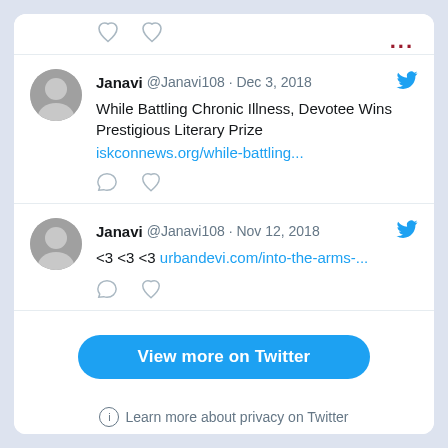[Figure (screenshot): Partial top of a previous tweet showing heart/comment icons]
Janavi @Janavi108 · Dec 3, 2018 — While Battling Chronic Illness, Devotee Wins Prestigious Literary Prize iskconnews.org/while-battling...
Janavi @Janavi108 · Nov 12, 2018 — <3 <3 <3 urbandevi.com/into-the-arms-...
View more on Twitter
Learn more about privacy on Twitter